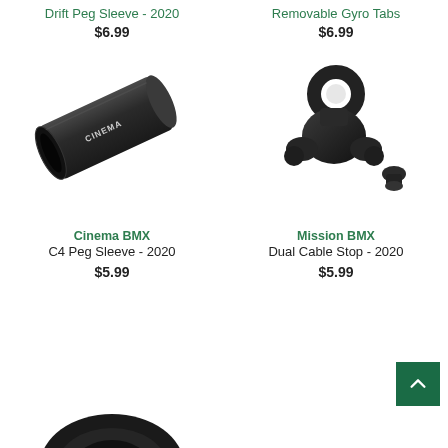Drift Peg Sleeve - 2020
$6.99
[Figure (photo): Black cylindrical drift peg sleeve with Cinema BMX branding]
Cinema BMX
C4 Peg Sleeve - 2020
$5.99
Removable Gyro Tabs
$6.99
[Figure (photo): Black metal dual cable stop BMX part with small screw piece]
Mission BMX
Dual Cable Stop - 2020
$5.99
[Figure (photo): Partial view of a black circular BMX part at bottom of page]